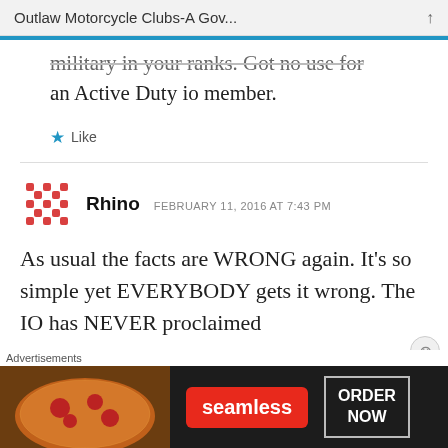Outlaw Motorcycle Clubs-A Gov...
military in your ranks. Got no use for an Active Duty io member.
Like
Rhino   FEBRUARY 11, 2016 AT 7:43 PM
As usual the facts are WRONG again. It’s so simple yet EVERYBODY gets it wrong. The IO has NEVER proclaimed
[Figure (other): Seamless food delivery advertisement banner showing pizza image, Seamless logo in red, and ORDER NOW button]
Advertisements